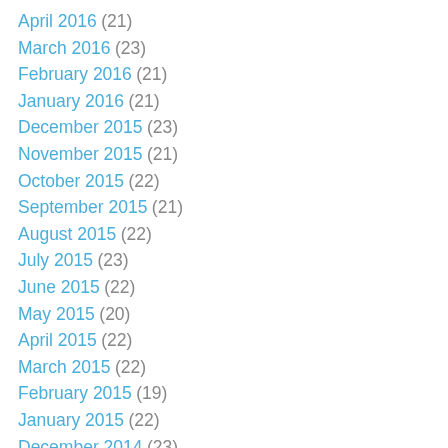April 2016 (21)
March 2016 (23)
February 2016 (21)
January 2016 (21)
December 2015 (23)
November 2015 (21)
October 2015 (22)
September 2015 (21)
August 2015 (22)
July 2015 (23)
June 2015 (22)
May 2015 (20)
April 2015 (22)
March 2015 (22)
February 2015 (19)
January 2015 (22)
December 2014 (23)
November 2014 (20)
October 2014 (23)
September 2014 (21)